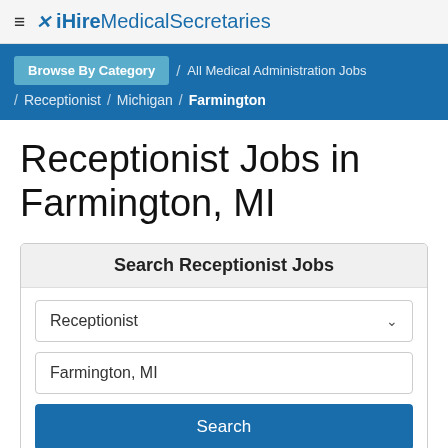≡ ✕ iHireMedicalSecretaries
Browse By Category / All Medical Administration Jobs / Receptionist / Michigan / Farmington
Receptionist Jobs in Farmington, MI
Search Receptionist Jobs
Receptionist
Farmington, MI
Search